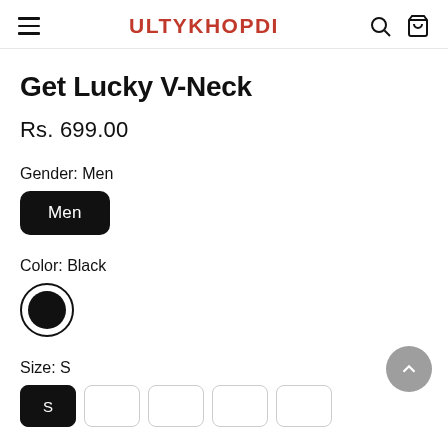ULTYKHOPDI
Get Lucky V-Neck
Rs. 699.00
Gender: Men
Men
Color: Black
[Figure (other): Black color swatch circle with border]
Size: S
S (active), and additional size buttons partially visible